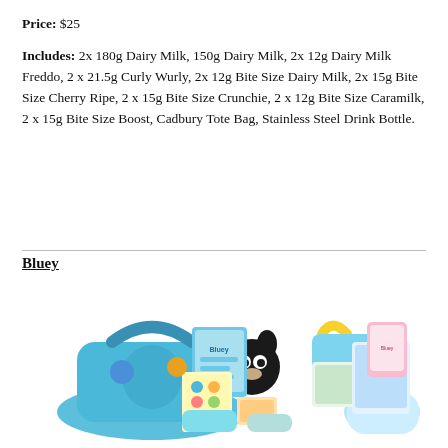Price: $25
Includes: 2x 180g Dairy Milk, 150g Dairy Milk, 2x 12g Dairy Milk Freddo, 2 x 21.5g Curly Wurly, 2x 12g Bite Size Dairy Milk, 2x 15g Bite Size Cherry Ripe, 2 x 15g Bite Size Crunchie, 2 x 12g Bite Size Caramilk, 2 x 15g Bite Size Boost, Cadbury Tote Bag, Stainless Steel Drink Bottle.
Bluey
[Figure (photo): A collection of Bluey-themed merchandise items spilling out of a blue Bluey-branded bag/case, including books, sticker sheets, a tote bag, plush items, and various Bluey character merchandise.]